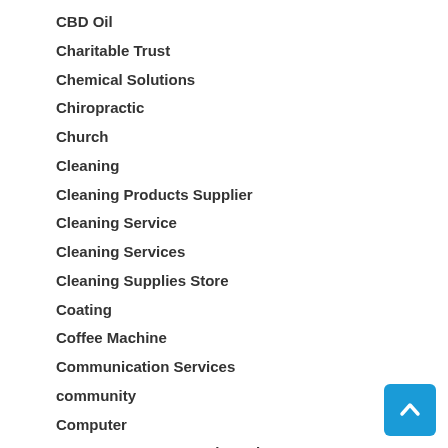CBD Oil
Charitable Trust
Chemical Solutions
Chiropractic
Church
Cleaning
Cleaning Products Supplier
Cleaning Service
Cleaning Services
Cleaning Supplies Store
Coating
Coffee Machine
Communication Services
community
Computer
Computer Support and Services
Construction and Maintenance